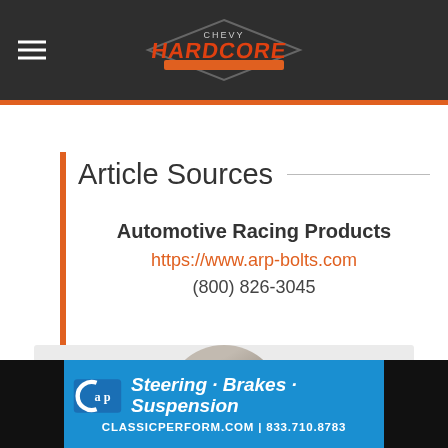Chevy Hardcore — site header with hamburger menu and Chevy Hardcore logo
Article Sources
Automotive Racing Products
https://www.arp-bolts.com
(800) 826-3045
[Figure (photo): Circular author photo at bottom of article section, partially visible person in camouflage-style clothing]
[Figure (infographic): CAP (Classic Perform) advertisement banner — blue background with CAP logo, 'Steering Brakes Suspension' tagline, classicperform.com | 833.710.8783]